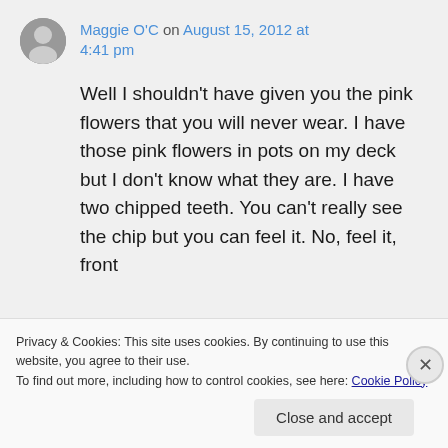Maggie O'C on August 15, 2012 at 4:41 pm
Well I shouldn't have given you the pink flowers that you will never wear. I have those pink flowers in pots on my deck but I don't know what they are. I have two chipped teeth. You can't really see the chip but you can feel it. No, feel it, front
Privacy & Cookies: This site uses cookies. By continuing to use this website, you agree to their use.
To find out more, including how to control cookies, see here: Cookie Policy
Close and accept